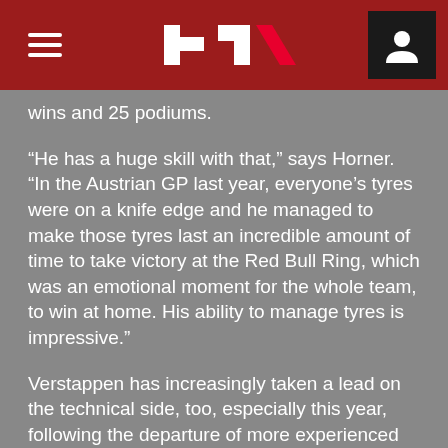F1 logo header with menu and user icon
wins and 25 podiums.
“He has a huge skill with that,” says Horner. “In the Austrian GP last year, everyone’s tyres were on a knife edge and he managed to make those tyres last an incredible amount of time to take victory at the Red Bull Ring, which was an emotional moment for the whole team, to win at home. His ability to manage tyres is impressive.”
Verstappen has increasingly taken a lead on the technical side, too, especially this year, following the departure of more experienced team mate Daniel Ricciardo to Renault. “I’m happy about it because I can feel what is good for the car or not,” Max says. “It’s been like that since karting. I didn’t like so much building up my go-karts. I was always involved, trying to understand what my dad was doing, but I was never into the engine tuning